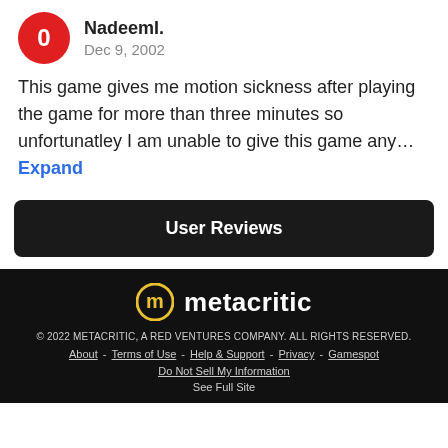NadeemI.
Dec 9, 2002
This game gives me motion sickness after playing the game for more than three minutes so unfortunatley I am unable to give this game any… Expand
User Reviews
© 2022 METACRITIC, A RED VENTURES COMPANY. ALL RIGHTS RESERVED.
About - Terms of Use - Help & Support - Privacy - Gamespot
Do Not Sell My Information
See Full Site